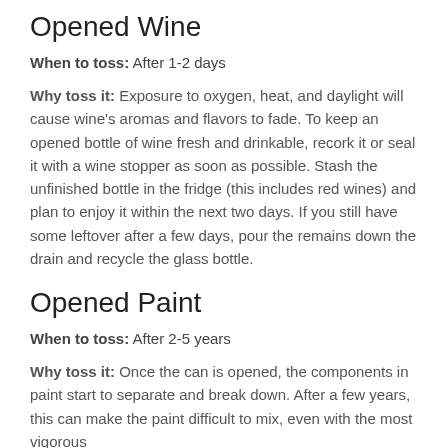Opened Wine
When to toss: After 1-2 days
Why toss it: Exposure to oxygen, heat, and daylight will cause wine's aromas and flavors to fade. To keep an opened bottle of wine fresh and drinkable, recork it or seal it with a wine stopper as soon as possible. Stash the unfinished bottle in the fridge (this includes red wines) and plan to enjoy it within the next two days. If you still have some leftover after a few days, pour the remains down the drain and recycle the glass bottle.
Opened Paint
When to toss: After 2-5 years
Why toss it: Once the can is opened, the components in paint start to separate and break down. After a few years, this can make the paint difficult to mix, even with the most vigorous